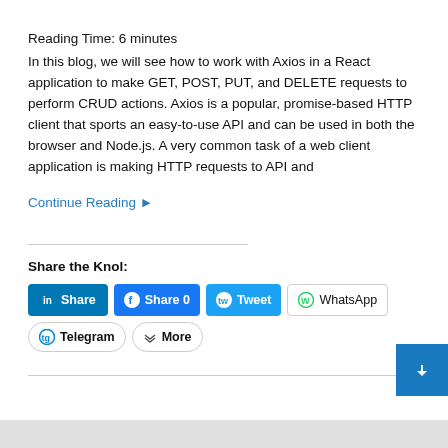Reading Time: 6 minutes
In this blog, we will see how to work with Axios in a React application to make GET, POST, PUT, and DELETE requests to perform CRUD actions. Axios is a popular, promise-based HTTP client that sports an easy-to-use API and can be used in both the browser and Node.js. A very common task of a web client application is making HTTP requests to API and
Continue Reading ▸
Share the Knol:
Share | Share 0 | Tweet | WhatsApp | Telegram | More